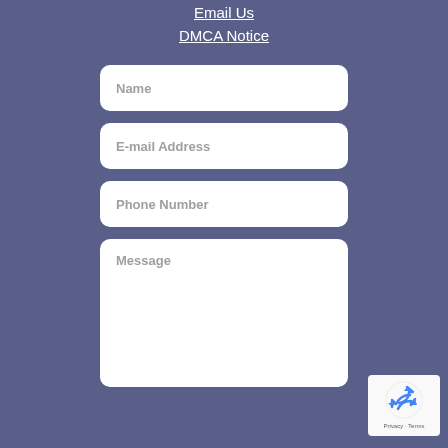Email Us
DMCA Notice
Name
E-mail Address
Phone Number
Message
[Figure (other): reCAPTCHA badge with recycling arrows icon, Privacy and Terms links]